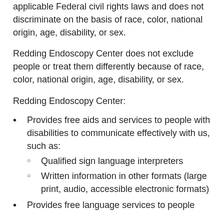Redding Endoscopy Center complies with applicable Federal civil rights laws and does not discriminate on the basis of race, color, national origin, age, disability, or sex.
Redding Endoscopy Center does not exclude people or treat them differently because of race, color, national origin, age, disability, or sex.
Redding Endoscopy Center:
Provides free aids and services to people with disabilities to communicate effectively with us, such as:
Qualified sign language interpreters
Written information in other formats (large print, audio, accessible electronic formats)
Provides free language services to people